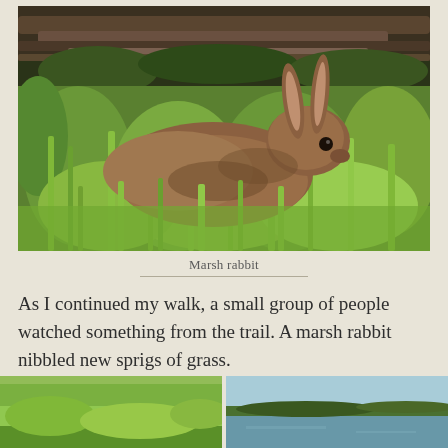[Figure (photo): A marsh rabbit sitting in green grass near fallen branches and logs, photographed from the side showing its brown fur and tall ears.]
Marsh rabbit
As I continued my walk, a small group of people watched something from the trail. A marsh rabbit nibbled new sprigs of grass.
[Figure (photo): Two partial bottom photos showing outdoor/nature scenes, left appears to be a grassy field, right appears to show sky and water/marsh.]